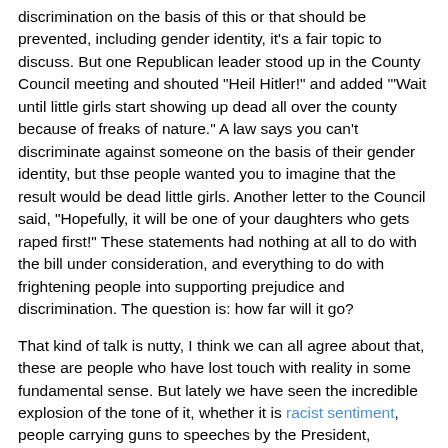discrimination on the basis of this or that should be prevented, including gender identity, it's a fair topic to discuss. But one Republican leader stood up in the County Council meeting and shouted "Heil Hitler!" and added '"Wait until little girls start showing up dead all over the county because of freaks of nature." A law says you can't discriminate against someone on the basis of their gender identity, but thse people wanted you to imagine that the result would be dead little girls. Another letter to the Council said, "Hopefully, it will be one of your daughters who gets raped first!" These statements had nothing at all to do with the bill under consideration, and everything to do with frightening people into supporting prejudice and discrimination. The question is: how far will it go?
That kind of talk is nutty, I think we can all agree about that, these are people who have lost touch with reality in some fundamental sense. But lately we have seen the incredible explosion of the tone of it, whether it is racist sentiment, people carrying guns to speeches by the President, incitement to join militias and secede from the US, the desire to "take our country back," or challenges to the qualifications